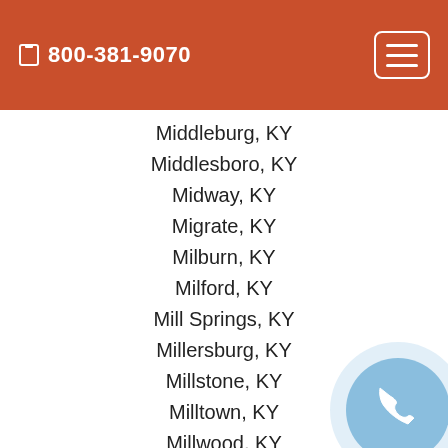800-381-9070
Middleburg, KY
Middlesboro, KY
Midway, KY
Migrate, KY
Milburn, KY
Milford, KY
Mill Springs, KY
Millersburg, KY
Millstone, KY
Milltown, KY
Millwood, KY
Milton, KY
Minerva, KY
Minnie, KY
Miracle, KY
Mistletoe, KY
Mitchellsburg, KY
Mize, KY
[Figure (illustration): Light blue circular phone call button with white handset icon]